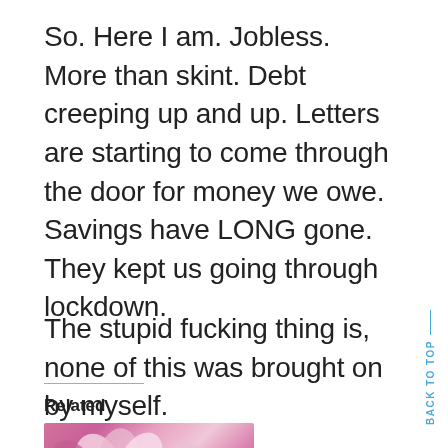So. Here I am. Jobless. More than skint. Debt creeping up and up. Letters are starting to come through the door for money we owe. Savings have LONG gone. They kept us going through lockdown.
The stupid fucking thing is, none of this was brought on by myself.
Related
[Figure (photo): A bouquet of flowers including pink, peach, and purple blooms against a pink/mauve background.]